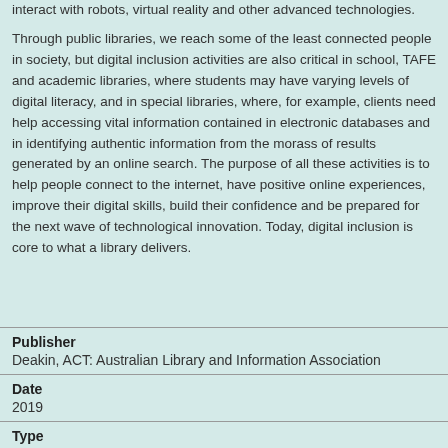interact with robots, virtual reality and other advanced technologies.
Through public libraries, we reach some of the least connected people in society, but digital inclusion activities are also critical in school, TAFE and academic libraries, where students may have varying levels of digital literacy, and in special libraries, where, for example, clients need help accessing vital information contained in electronic databases and in identifying authentic information from the morass of results generated by an online search. The purpose of all these activities is to help people connect to the internet, have positive online experiences, improve their digital skills, build their confidence and be prepared for the next wave of technological innovation. Today, digital inclusion is core to what a library delivers.
| Publisher | Date | Type |
| --- | --- | --- |
| Deakin, ACT: Australian Library and Information Association |
| 2019 |
|  |